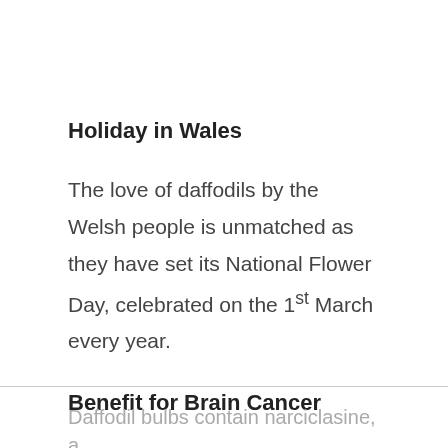Holiday in Wales
The love of daffodils by the Welsh people is unmatched as they have set its National Flower Day, celebrated on the 1st March every year.
Benefit for Brain Cancer
Daffodil bulbs contain narciclasine, a